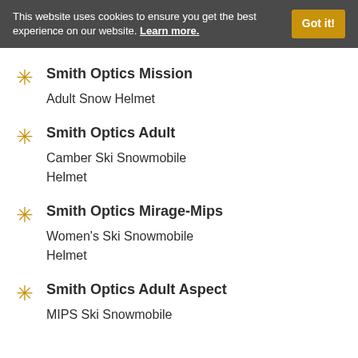This website uses cookies to ensure you get the best experience on our website. Learn more.
Smith Optics Mission Adult Snow Helmet
Smith Optics Adult Camber Ski Snowmobile Helmet
Smith Optics Mirage-Mips Women's Ski Snowmobile Helmet
Smith Optics Adult Aspect MIPS Ski Snowmobile